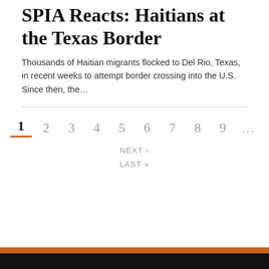SPIA Reacts: Haitians at the Texas Border
Thousands of Haitian migrants flocked to Del Rio, Texas, in recent weeks to attempt border crossing into the U.S. Since then, the...
1 2 3 4 5 6 7 8 9 ...
NEXT ›
LAST »